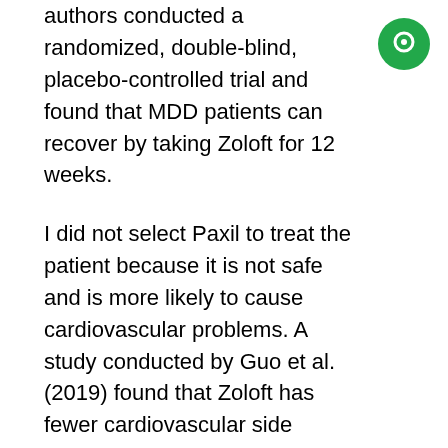authors conducted a randomized, double-blind, placebo-controlled trial and found that MDD patients can recover by taking Zoloft for 12 weeks.
[Figure (illustration): Green circle icon with a small white circle inside, positioned top-right corner]
I did not select Paxil to treat the patient because it is not safe and is more likely to cause cardiovascular problems. A study conducted by Guo et al. (2019) found that Zoloft has fewer cardiovascular side effects compared to Paxil. I did not choose Wellbutrin because it does not belong to the SSRI class. I also avoided Wellbutrin because it causes side effects, such as seizures, headaches, and difficulty concentrating (Reddyn et al., 2020). I hoped to improve the patient's mental state by 50% in four weeks (Fann et al., 2017). The treatment plan, in this case